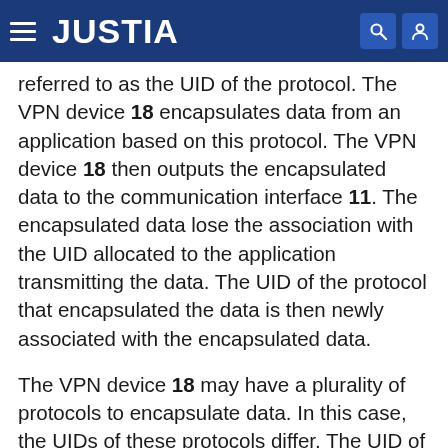JUSTIA
referred to as the UID of the protocol. The VPN device 18 encapsulates data from an application based on this protocol. The VPN device 18 then outputs the encapsulated data to the communication interface 11. The encapsulated data lose the association with the UID allocated to the application transmitting the data. The UID of the protocol that encapsulated the data is then newly associated with the encapsulated data.
The VPN device 18 may have a plurality of protocols to encapsulate data. In this case, the UIDs of these protocols differ. The UID of the protocol that encapsulates data is associated with the encapsulated data. When the VPN device 18 has a plurality of protocols to encapsulate data, the UIDs of these protocols belong to a common group. A GID is allocated to this common group. Accordingly, a common GID is